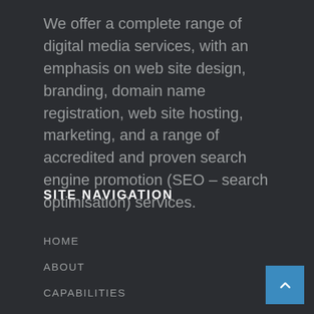We offer a complete range of digital media services, with an emphasis on web site design, branding, domain name registration, web site hosting, marketing, and a range of accredited and proven search engine promotion (SEO – search optimisation) services.
SITE NAVIGATION
HOME
ABOUT
CAPABILITIES
PORTFOLIO